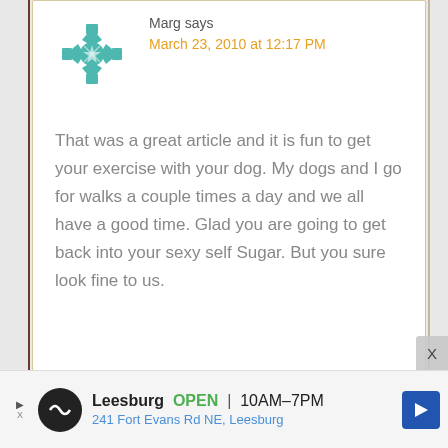Marg says
March 23, 2010 at 12:17 PM
That was a great article and it is fun to get your exercise with your dog. My dogs and I go for walks a couple times a day and we all have a good time. Glad you are going to get back into your sexy self Sugar. But you sure look fine to us.
Ruby and Penny says
March 23, 2010 at 2:29 PM
Leesburg OPEN 10AM–7PM 241 Fort Evans Rd NE, Leesburg